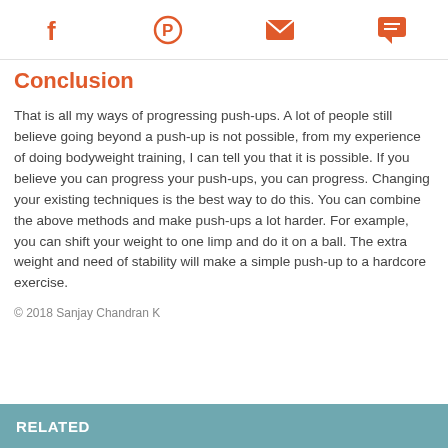Social share icons: Facebook, Pinterest, Email, Comment
Conclusion
That is all my ways of progressing push-ups. A lot of people still believe going beyond a push-up is not possible, from my experience of doing bodyweight training, I can tell you that it is possible. If you believe you can progress your push-ups, you can progress. Changing your existing techniques is the best way to do this. You can combine the above methods and make push-ups a lot harder. For example, you can shift your weight to one limp and do it on a ball. The extra weight and need of stability will make a simple push-up to a hardcore exercise.
© 2018 Sanjay Chandran K
RELATED